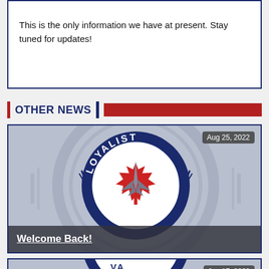This is the only information we have at present. Stay tuned for updates!
OTHER NEWS
[Figure (logo): Loyalist Jets hockey team logo — circular navy blue badge with 'LOYALIST' on top arc and 'JETS' on bottom arc, red maple leaf and grey jet fighter in center, on a blurred grey background. Date: Aug 25, 2022.]
Welcome Back!
[Figure (logo): Loyalist Jets logo partially visible (cropped). Date: Jun 17, 2022.]